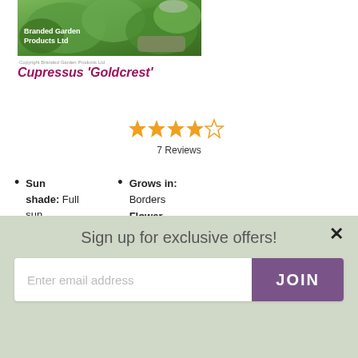[Figure (photo): Photo of Cupressus Goldcrest plant with lush green foliage in a garden setting. Branded Garden Products Ltd logo overlaid on image. Copyright notice below.]
Cupressus 'Goldcrest'
[Figure (other): 4 out of 5 star rating with 7 Reviews]
Sun shade: Full sun
Grows in: Borders
Flower Colour: Brown
Longevity: Tree
Sign up for exclusive offers!
Enter email address
JOIN